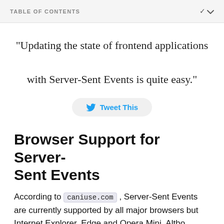TABLE OF CONTENTS
"Updating the state of frontend applications with Server-Sent Events is quite easy."
[Figure (other): Tweet This button with Twitter bird icon]
Browser Support for Server-Sent Events
According to caniuse.com , Server-Sent Events are currently supported by all major browsers but Internet Explorer, Edge and Opera Mini. Although a recon...